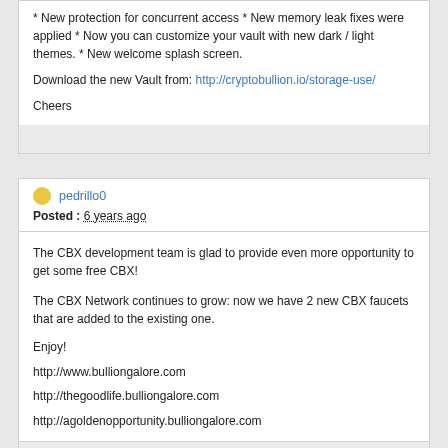* New protection for concurrent access * New memory leak fixes were applied * Now you can customize your vault with new dark / light themes. * New welcome splash screen.
Download the new Vault from: http://cryptobullion.io/storage-use/
Cheers
pedrillo0
Posted : 6 years ago
The CBX development team is glad to provide even more opportunity to get some free CBX!
The CBX Network continues to grow: now we have 2 new CBX faucets that are added to the existing one.
Enjoy!
http://www.bulliongalore.com
http://thegoodlife.bulliongalore.com
http://agoldenopportunity.bulliongalore.com